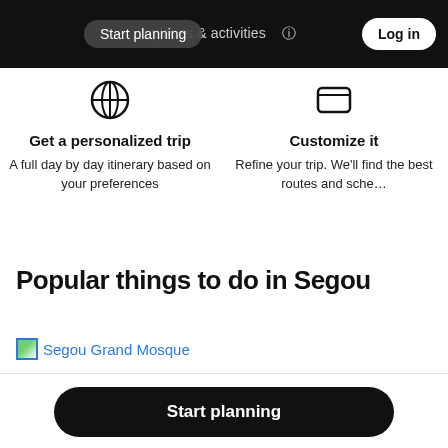Start planning   places & activities   Log in
Get a personalized trip
A full day by day itinerary based on your preferences
Customize it
Refine your trip. We'll find the best routes and sche…
Popular things to do in Segou
Segou Grand Mosque
Start planning